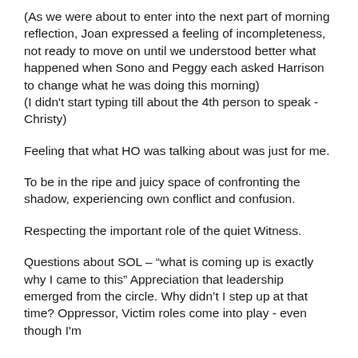(As we were about to enter into the next part of morning reflection, Joan expressed a feeling of incompleteness, not ready to move on until we understood better what happened when Sono and Peggy each asked Harrison to change what he was doing this morning)
(I didn't start typing till about the 4th person to speak - Christy)
Feeling that what HO was talking about was just for me.
To be in the ripe and juicy space of confronting the shadow, experiencing own conflict and confusion.
Respecting the important role of the quiet Witness.
Questions about SOL – “what is coming up is exactly why I came to this” Appreciation that leadership emerged from the circle. Why didn’t I step up at that time? Oppressor, Victim roles come into play - even though I'm